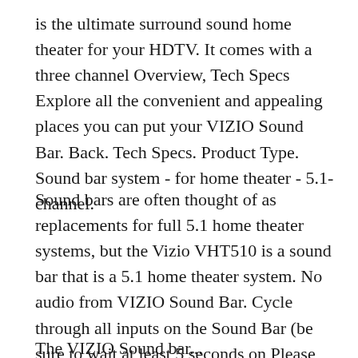is the ultimate surround sound home theater for your HDTV. It comes with a three channel Overview, Tech Specs Explore all the convenient and appealing places you can put your VIZIO Sound Bar. Back. Tech Specs. Product Type. Sound bar system - for home theater - 5.1-channel.
Sound bars are often thought of as replacements for full 5.1 home theater systems, but the Vizio VHT510 is a sound bar that is a 5.1 home theater system. No audio from VIZIO Sound Bar. Cycle through all inputs on the Sound Bar (be sure to wait at least 5 seconds on Please refer to your device user manual or
The VIZIO Sound bar...